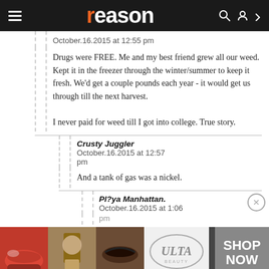reason
October.16.2015 at 12:55 pm
Drugs were FREE. Me and my best friend grew all our weed. Kept it in the freezer through the winter/summer to keep it fresh. We'd get a couple pounds each year - it would get us through till the next harvest.

I never paid for weed till I got into college. True story.
Crusty Juggler
October.16.2015 at 12:57 pm
And a tank of gas was a nickel.
Pl?ya Manhattan.
October.16.2015 at 1:06 pm
[Figure (other): ULTA Beauty advertisement banner showing makeup images and SHOP NOW text]
Citizen X